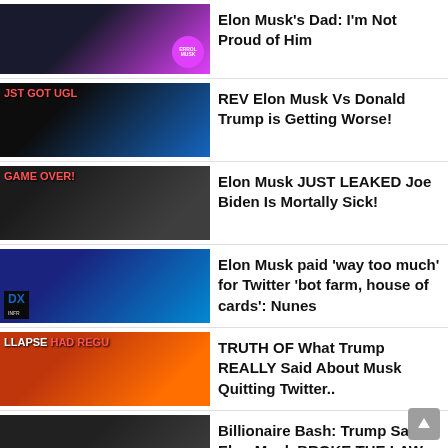Elon Musk's Dad: I'm Not Proud of Him
REV Elon Musk Vs Donald Trump is Getting Worse!
Elon Musk JUST LEAKED Joe Biden Is Mortally Sick!
Elon Musk paid ‘way too much’ for Twitter ‘bot farm, house of cards’: Nunes
TRUTH OF What Trump REALLY Said About Musk Quitting Twitter..
Billionaire Bash: Trump Says Elon Musk BROKE THE LAW With Twitter